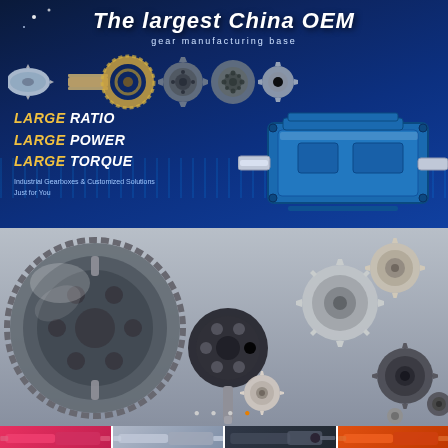[Figure (photo): Top banner with dark blue background showing 'The largest China OEM gear manufacturing base' title, various metal gears and sprockets displayed across the top, a large blue industrial gearbox on the right, and text overlays: LARGE RATIO, LARGE POWER, LARGE TORQUE, Industrial Gearboxes & Customized Solutions, Just for You]
[Figure (photo): Middle section on grey background showing a collection of various metal gears, sprockets, couplings, and gear components of different sizes and types arranged as a product display]
[Figure (photo): Bottom row showing four product thumbnail previews: pink/magenta colored gearbox, silver/grey gearbox, dark motor unit, and orange gearbox]